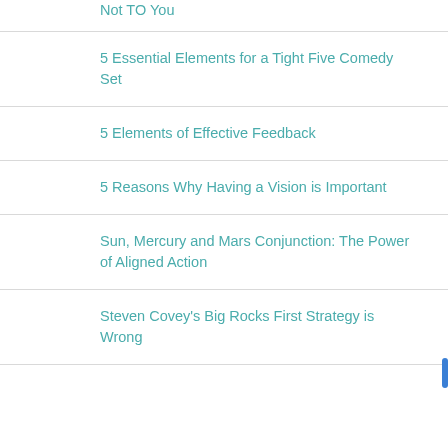Not TO You
5 Essential Elements for a Tight Five Comedy Set
5 Elements of Effective Feedback
5 Reasons Why Having a Vision is Important
Sun, Mercury and Mars Conjunction: The Power of Aligned Action
Steven Covey's Big Rocks First Strategy is Wrong